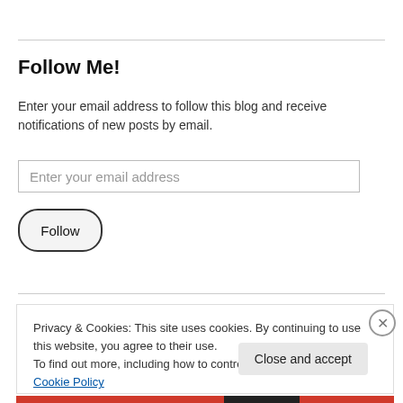Follow Me!
Enter your email address to follow this blog and receive notifications of new posts by email.
Enter your email address
Follow
Privacy & Cookies: This site uses cookies. By continuing to use this website, you agree to their use.
To find out more, including how to control cookies, see here: Cookie Policy
Close and accept